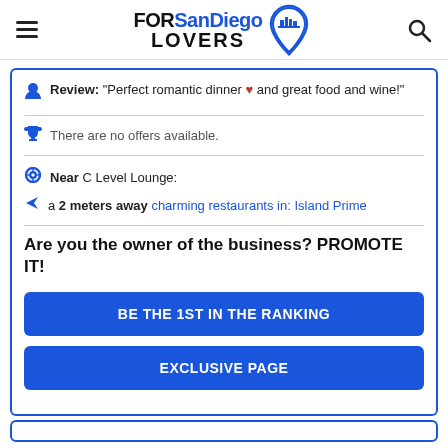FORSanDiegoLOVERS
Review: "Perfect romantic dinner ♥ and great food and wine!"
There are no offers available.
Near C Level Lounge:
a 2 meters away charming restaurants in: Island Prime
Are you the owner of the business? PROMOTE IT!
BE THE 1ST IN THE RANKING
EXCLUSIVE PAGE